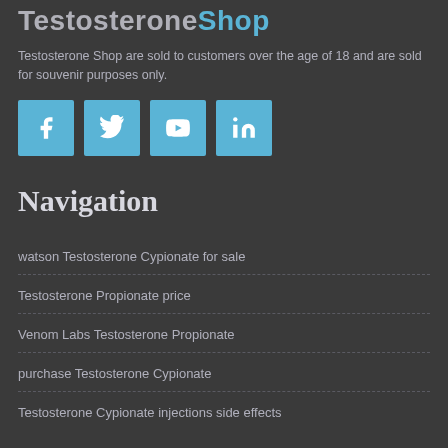TestosteroneShop
Testosterone Shop are sold to customers over the age of 18 and are sold for souvenir purposes only.
[Figure (other): Four social media icons: Facebook, Twitter, YouTube, LinkedIn — blue square buttons with white icons]
Navigation
watson Testosterone Cypionate for sale
Testosterone Propionate price
Venom Labs Testosterone Propionate
purchase Testosterone Cypionate
Testosterone Cypionate injections side effects